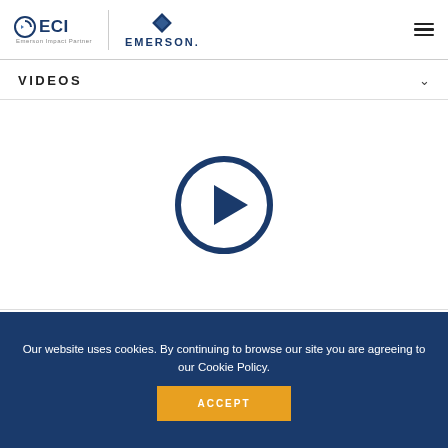[Figure (logo): ECI Emerson Impact Partner and EMERSON logos in the header]
VIDEOS
[Figure (screenshot): Video thumbnail with play button circle icon on white background]
Bettis RTS Fail-Safe Quarter Turn Electric Actuator - Section 8.3
Our website uses cookies. By continuing to browse our site you are agreeing to our Cookie Policy.
ACCEPT